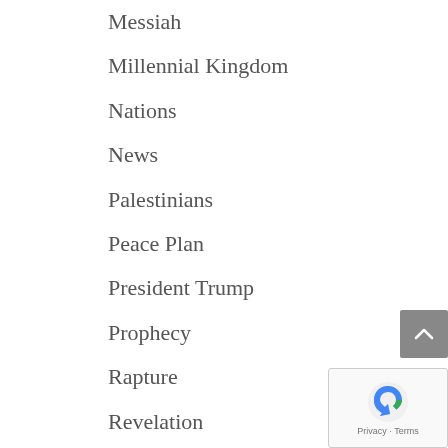Messiah
Millennial Kingdom
Nations
News
Palestinians
Peace Plan
President Trump
Prophecy
Rapture
Revelation
Russia
Satan
Saudi Arabia